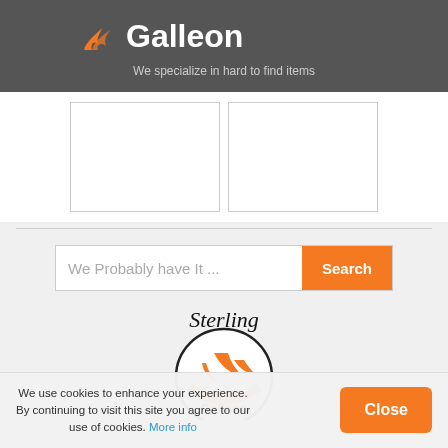[Figure (logo): Galleon website header with orange ship-flame logo and white bold text 'Galleon' on dark grey background]
We specialize in hard to find items
[Figure (other): Two empty white image placeholder boxes side by side]
[Figure (logo): Sterling Galleon circular logo with orange ship graphic and cursive 'Sterling' text above and 'Galleon' text below]
We use cookies to enhance your experience. By continuing to visit this site you agree to our use of cookies. More info